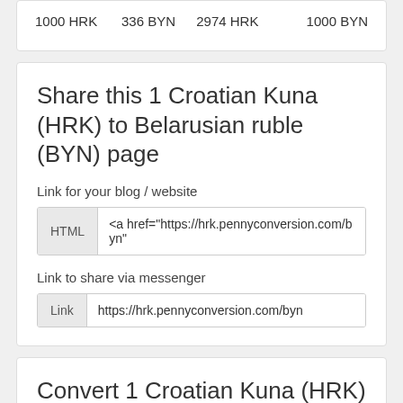| 1000 HRK | 336 BYN | 2974 HRK | 1000 BYN |
Share this 1 Croatian Kuna (HRK) to Belarusian ruble (BYN) page
Link for your blog / website
<a href="https://hrk.pennyconversion.com/byn"
Link to share via messenger
https://hrk.pennyconversion.com/byn
Convert 1 Croatian Kuna (HRK) to other currencies